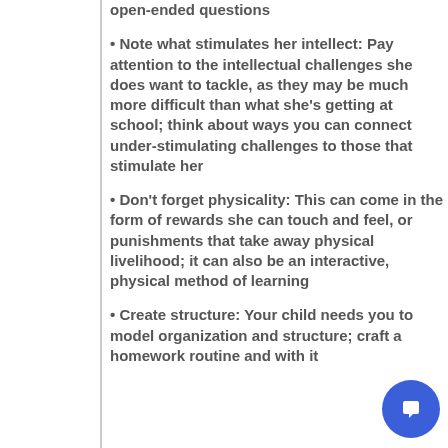open-ended questions
• Note what stimulates her intellect: Pay attention to the intellectual challenges she does want to tackle, as they may be much more difficult than what she's getting at school; think about ways you can connect under-stimulating challenges to those that stimulate her
• Don't forget physicality: This can come in the form of rewards she can touch and feel, or punishments that take away physical livelihood; it can also be an interactive, physical method of learning
• Create structure: Your child needs you to model organization and structure; craft a homework routine and with it